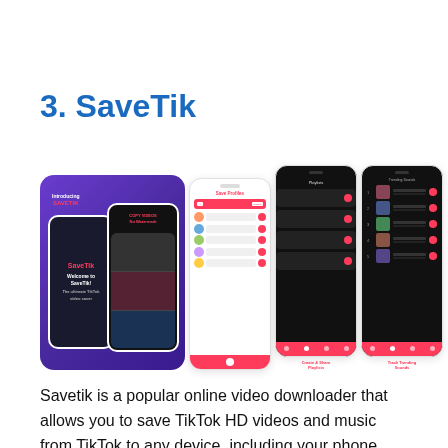3. SaveTik
[Figure (screenshot): Screenshots of the SaveTik app showing multiple phone mockups: an intro screen welcoming users to SaveTik with no watermark option on a purple background, a Save Profiles screen showing user profiles with download buttons, a Create & Share Playlists screen, and a Track Trending Sounds screen.]
Savetik is a popular online video downloader that allows you to save TikTok HD videos and music from TikTok to any device, including your phone, PC, or tablet. It is the